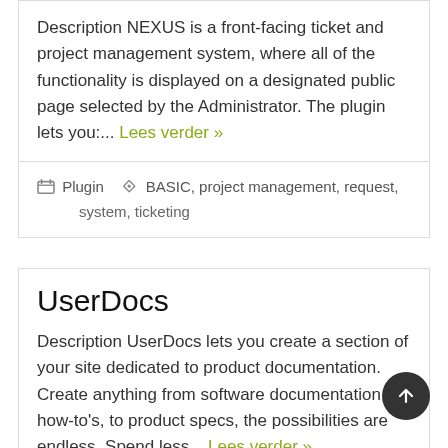Description NEXUS is a front-facing ticket and project management system, where all of the functionality is displayed on a designated public page selected by the Administrator. The plugin lets you:... Lees verder »
Plugin   BASIC, project management, request, system, ticketing
UserDocs
Description UserDocs lets you create a section of your site dedicated to product documentation. Create anything from software documentation, to how-to's, to product specs, the possibilities are endless. Spend less... Lees verder »